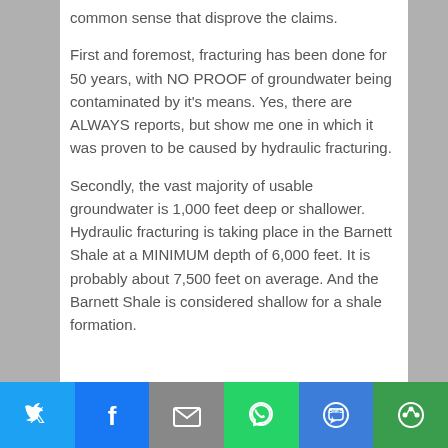common sense that disprove the claims.
First and foremost, fracturing has been done for 50 years, with NO PROOF of groundwater being contaminated by it's means. Yes, there are ALWAYS reports, but show me one in which it was proven to be caused by hydraulic fracturing.
Secondly, the vast majority of usable groundwater is 1,000 feet deep or shallower. Hydraulic fracturing is taking place in the Barnett Shale at a MINIMUM depth of 6,000 feet. It is probably about 7,500 feet on average. And the Barnett Shale is considered shallow for a shale formation.
[Figure (infographic): Social media sharing bar with icons for Twitter, Facebook, Email, WhatsApp, SMS, and an additional share option]